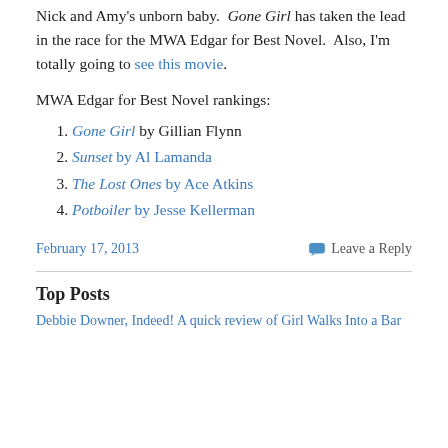Nick and Amy's unborn baby. Gone Girl has taken the lead in the race for the MWA Edgar for Best Novel. Also, I'm totally going to see this movie.
MWA Edgar for Best Novel rankings:
Gone Girl by Gillian Flynn
Sunset by Al Lamanda
The Lost Ones by Ace Atkins
Potboiler by Jesse Kellerman
February 17, 2013   Leave a Reply
Top Posts
Debbie Downer, Indeed! A quick review of Girl Walks Into a Bar